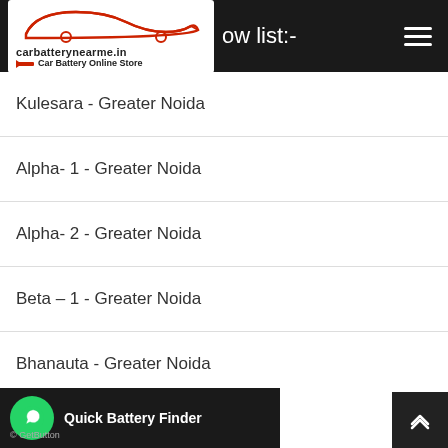carbatterynearme.in Car Battery Online Store — ow list:-
Kulesara - Greater Noida
Alpha- 1 - Greater Noida
Alpha- 2 - Greater Noida
Beta – 1 - Greater Noida
Bhanauta - Greater Noida
Bodaki - Greater Noida
…oida
Quick Battery Finder